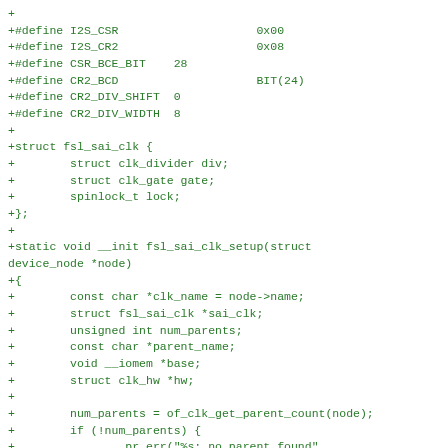+
+#define I2S_CSR                    0x00
+#define I2S_CR2                    0x08
+#define CSR_BCE_BIT    28
+#define CR2_BCD                    BIT(24)
+#define CR2_DIV_SHIFT  0
+#define CR2_DIV_WIDTH  8
+
+struct fsl_sai_clk {
+        struct clk_divider div;
+        struct clk_gate gate;
+        spinlock_t lock;
+};
+
+static void __init fsl_sai_clk_setup(struct
device_node *node)
+{
+        const char *clk_name = node->name;
+        struct fsl_sai_clk *sai_clk;
+        unsigned int num_parents;
+        const char *parent_name;
+        void __iomem *base;
+        struct clk_hw *hw;
+
+        num_parents = of_clk_get_parent_count(node);
+        if (!num_parents) {
+                pr_err("%s: no parent found",
clk_name);
+                return;
+        }